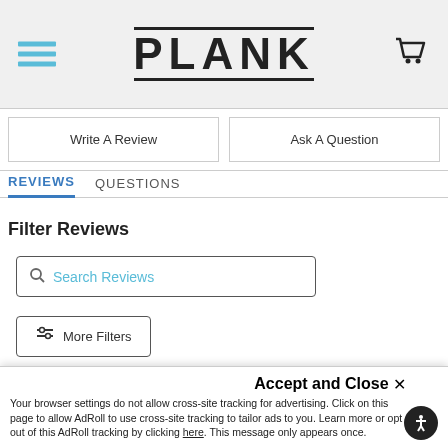[Figure (screenshot): PLANK website header with hamburger menu icon on left, PLANK logo in center, and shopping cart icon on right, on light gray background]
Write A Review
Ask A Question
REVIEWS
QUESTIONS
Filter Reviews
Search Reviews
More Filters
Accept and Close ✕
Your browser settings do not allow cross-site tracking for advertising. Click on this page to allow AdRoll to use cross-site tracking to tailor ads to you. Learn more or opt out of this AdRoll tracking by clicking here. This message only appears once.